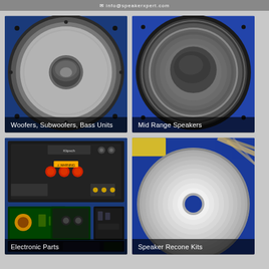info@speakerxpert.com
[Figure (photo): Close-up front view of a woofer/subwoofer speaker with grey cone and dust cap on blue background]
Woofers, Subwoofers, Bass Units
[Figure (photo): Close-up front view of a mid range speaker with dark dusty dome and surround on blue background]
Mid Range Speakers
[Figure (photo): Collection of electronic parts including amplifier boards, circuit boards and connectors on blue background with Klipsch branded amplifier visible]
Electronic Parts
[Figure (photo): Speaker recone kit showing cone, surround and voice coil components on blue background]
Speaker Recone Kits